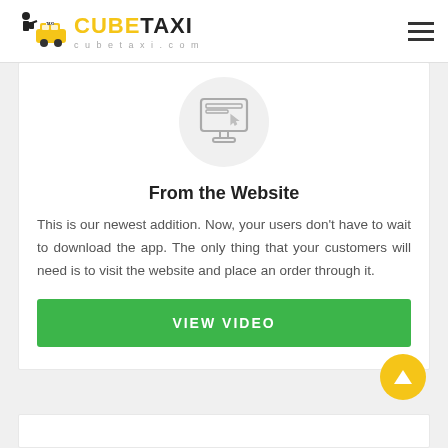CUBETAXI cubetaxi.com
[Figure (illustration): Monitor/computer screen icon inside a light gray circle, showing a webpage with cursor arrow]
From the Website
This is our newest addition. Now, your users don't have to wait to download the app. The only thing that your customers will need is to visit the website and place an order through it.
VIEW VIDEO